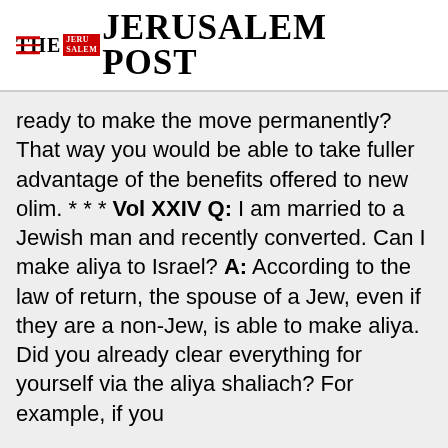THE JERUSALEM POST
ready to make the move permanently? That way you would be able to take fuller advantage of the benefits offered to new olim. * * * Vol XXIV Q: I am married to a Jewish man and recently converted. Can I make aliya to Israel? A: According to the law of return, the spouse of a Jew, even if they are a non-Jew, is able to make aliya. Did you already clear everything for yourself via the aliya shaliach? For example, if you
Advertisement